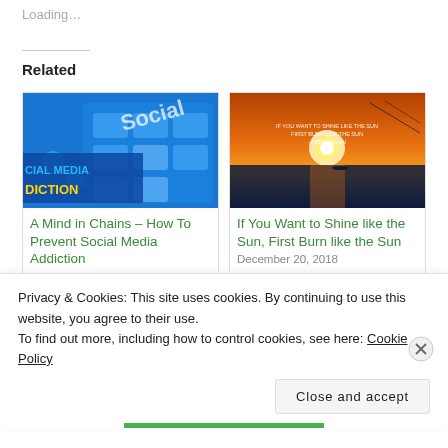Loading...
Related
[Figure (screenshot): Social Media Addiction blog post thumbnail – blue keyboard with Social Media Addiction text overlay]
A Mind in Chains – How To Prevent Social Media Addiction
August 5, 2018
[Figure (photo): Sunset over water with motivational quote: IF YOU WANT TO SHINE LIKE THE SUN FIRST BURN LIKE THE SUN – ABDUL KALAM]
If You Want to Shine like the Sun, First Burn like the Sun
December 20, 2018
Privacy & Cookies: This site uses cookies. By continuing to use this website, you agree to their use.
To find out more, including how to control cookies, see here: Cookie Policy
Close and accept